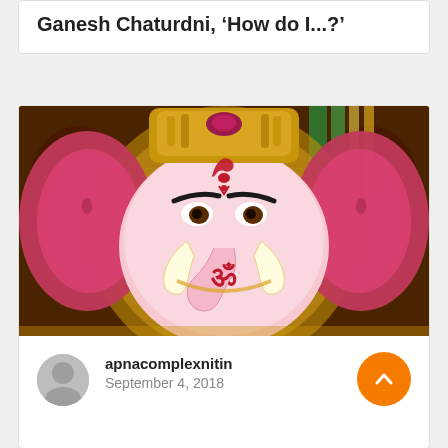Ganesh Chaturdni, 'How do I...?'
[Figure (photo): Close-up photograph of a decorative Ganesha idol/statue with pink face, large red ears, golden crown with jewels, Om symbol on the trunk, set against an ornate dark background with gold patterns]
apnacomplexnitin
September 4, 2018